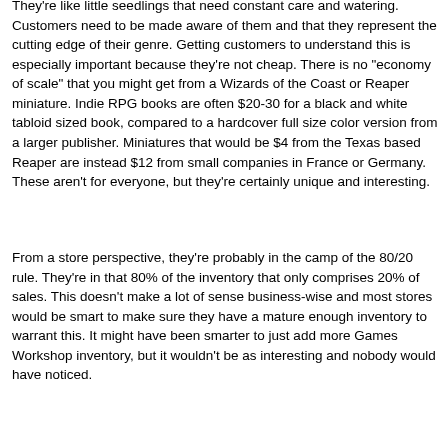They're like little seedlings that need constant care and watering. Customers need to be made aware of them and that they represent the cutting edge of their genre. Getting customers to understand this is especially important because they're not cheap. There is no "economy of scale" that you might get from a Wizards of the Coast or Reaper miniature. Indie RPG books are often $20-30 for a black and white tabloid sized book, compared to a hardcover full size color version from a larger publisher. Miniatures that would be $4 from the Texas based Reaper are instead $12 from small companies in France or Germany. These aren't for everyone, but they're certainly unique and interesting.
From a store perspective, they're probably in the camp of the 80/20 rule. They're in that 80% of the inventory that only comprises 20% of sales. This doesn't make a lot of sense business-wise and most stores would be smart to make sure they have a mature enough inventory to warrant this. It might have been smarter to just add more Games Workshop inventory, but it wouldn't be as interesting and nobody would have noticed.